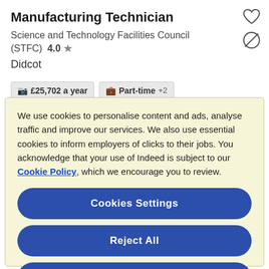Manufacturing Technician
Science and Technology Facilities Council (STFC)  4.0 ★
Didcot
£25,702 a year   Part-time +2
We use cookies to personalise content and ads, analyse traffic and improve our services. We also use essential cookies to inform employers of clicks to their jobs. You acknowledge that your use of Indeed is subject to our Cookie Policy, which we encourage you to review.
Cookies Settings
Reject All
Accept All Cookies